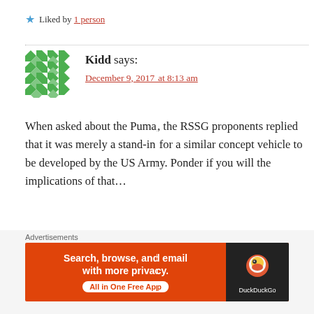★ Liked by 1 person
Kidd says:
December 9, 2017 at 8:13 am
When asked about the Puma, the RSSG proponents replied that it was merely a stand-in for a similar concept vehicle to be developed by the US Army. Ponder if you will the implications of that...
MacGregor's RSSG has been comprehensively
Advertisements
Search, browse, and email with more privacy. All in One Free App